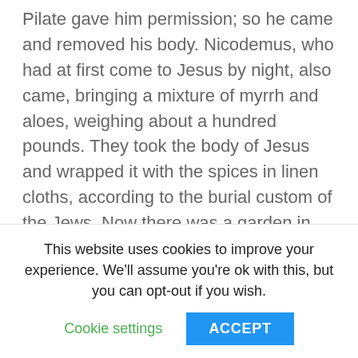Pilate gave him permission; so he came and removed his body. Nicodemus, who had at first come to Jesus by night, also came, bringing a mixture of myrrh and aloes, weighing about a hundred pounds. They took the body of Jesus and wrapped it with the spices in linen cloths, according to the burial custom of the Jews. Now there was a garden in the place where he was crucified, and in the garden there was a new tomb in which no one had ever been laid. And so, because it was the Jewish day of
This website uses cookies to improve your experience. We'll assume you're ok with this, but you can opt-out if you wish.
Cookie settings | ACCEPT